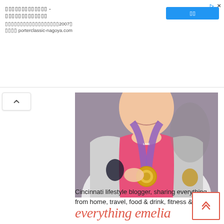[Figure (screenshot): Advertisement banner with Japanese text, a blue button, and porterclassic-nagoya.com URL. Shows triangular ad icon and X close button at top right.]
[Figure (photo): Woman smiling in pink athletic top and silver jacket, holding up a race/marathon medal with purple ribbon around her neck.]
everything emelia
Cincinnati lifestyle blogger, sharing everything from home, travel, food & drink, fitness &